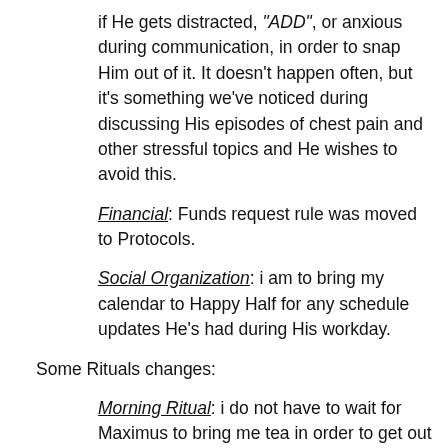if He gets distracted, "ADD", or anxious during communication, in order to snap Him out of it. It doesn't happen often, but it's something we've noticed during discussing His episodes of chest pain and other stressful topics and He wishes to avoid this.
Financial: Funds request rule was moved to Protocols.
Social Organization: i am to bring my calendar to Happy Half for any schedule updates He's had during His workday.
Some Rituals changes:
Morning Ritual: i do not have to wait for Maximus to bring me tea in order to get out of bed (this was a miscommunication while we were discussing changes) and if i do get up before Maximus, i am to